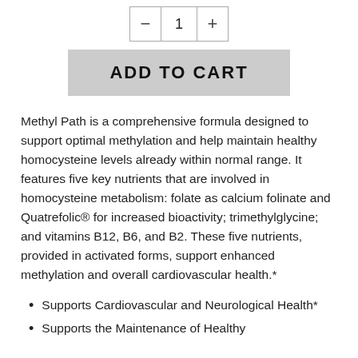[Figure (other): Quantity selector with minus button, number 1, and plus button]
[Figure (other): ADD TO CART button]
Methyl Path is a comprehensive formula designed to support optimal methylation and help maintain healthy homocysteine levels already within normal range. It features five key nutrients that are involved in homocysteine metabolism: folate as calcium folinate and Quatrefolic® for increased bioactivity; trimethylglycine; and vitamins B12, B6, and B2. These five nutrients, provided in activated forms, support enhanced methylation and overall cardiovascular health.*
Supports Cardiovascular and Neurological Health*
Supports the Maintenance of Healthy